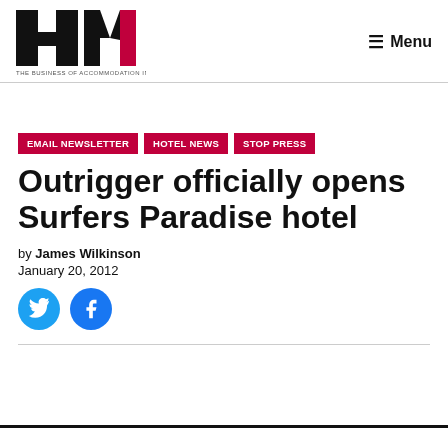HM — THE BUSINESS OF ACCOMMODATION IN ASIA-PACIFIC | Menu
EMAIL NEWSLETTER
HOTEL NEWS
STOP PRESS
Outrigger officially opens Surfers Paradise hotel
by James Wilkinson
January 20, 2012